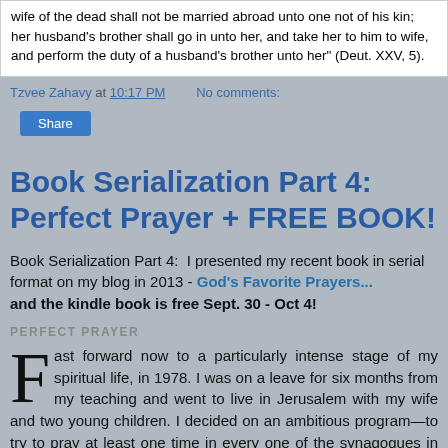wife of the dead shall not be married abroad unto one not of his kin; her husband's brother shall go in unto her, and take her to him to wife, and perform the duty of a husband's brother unto her" (Deut. XXV, 5).
Tzvee Zahavy at 10:17 PM   No comments:
Share
Book Serialization Part 4: Perfect Prayer + FREE BOOK!
Book Serialization Part 4:  I presented my recent book in serial format on my blog in 2013 - God's Favorite Prayers... and the kindle book is free Sept. 30 - Oct 4!
PERFECT PRAYER
Fast forward now to a particularly intense stage of my spiritual life, in 1978. I was on a leave for six months from my teaching and went to live in Jerusalem with my wife and two young children. I decided on an ambitious program—to try to pray at least one time in every one of the synagogues in Jerusalem, the most sacred city in Judaism. That capital city of Judaism has dozens of varieties